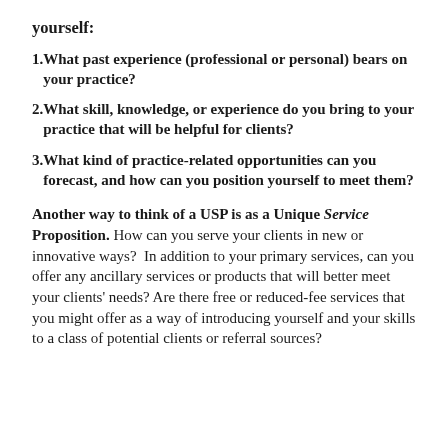yourself:
1. What past experience (professional or personal) bears on your practice?
2. What skill, knowledge, or experience do you bring to your practice that will be helpful for clients?
3. What kind of practice-related opportunities can you forecast, and how can you position yourself to meet them?
Another way to think of a USP is as a Unique Service Proposition. How can you serve your clients in new or innovative ways? In addition to your primary services, can you offer any ancillary services or products that will better meet your clients' needs? Are there free or reduced-fee services that you might offer as a way of introducing yourself and your skills to a class of potential clients or referral sources?